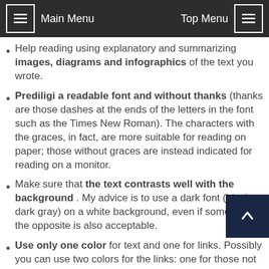Main Menu   Top Menu
Help reading using explanatory and summarizing images, diagrams and infographics of the text you wrote.
Prediligi a readable font and without thanks (thanks are those dashes at the ends of the letters in the font such as the Times New Roman). The characters with the graces, in fact, are more suitable for reading on paper; those without graces are instead indicated for reading on a monitor.
Make sure that the text contrasts well with the background . My advice is to use a dark font (black or dark gray) on a white background, even if sometimes the opposite is also acceptable.
Use only one color for text and one for links. Possibly you can use two colors for the links: one for those not visited (default is blue # 0000FF) and one for those visited (usually violet # 800080 ).
Use bold for basic steps. In fact, the reader will often not read the text in full but will tend to move the eyes along the